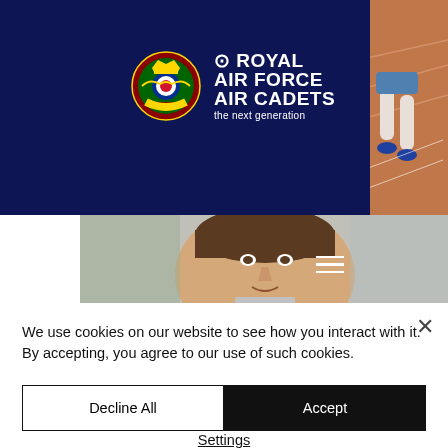[Figure (photo): Royal Air Force Air Cadets website screenshot showing navy blue header with RAF Air Cadets logo, hamburger menu, and a running track with person's legs visible on right side. Below is a photo of a young man's face outdoors.]
We use cookies on our website to see how you interact with it. By accepting, you agree to our use of such cookies.
Decline All
Accept
Settings